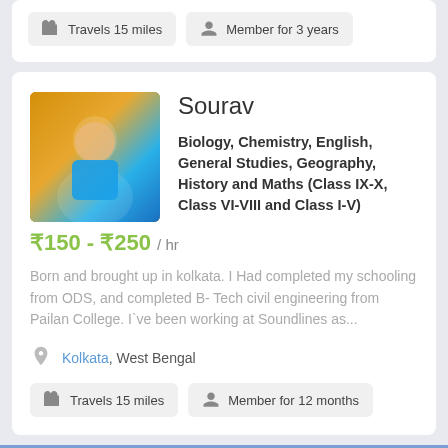Travels 15 miles
Member for 3 years
Sourav
Biology, Chemistry, English, General Studies, Geography, History and Maths (Class IX-X, Class VI-VIII and Class I-V)
₹150 - ₹250 / hr
Born and brought up in kolkata. I Had completed my schooling from ODS, and completed B- Tech civil engineering from Pailan College. I`ve been working at Soundlines as...
Kolkata, West Bengal
Travels 15 miles
Member for 12 months
We use cookies to improve your experience on Tutor Hunt. If you continue, you accept our use of cookies and revised Privacy Policy.
Rajani